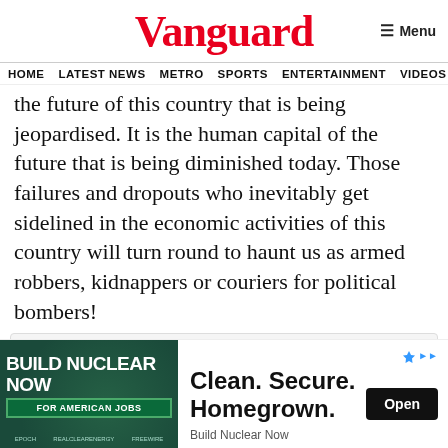Vanguard
HOME  LATEST NEWS  METRO  SPORTS  ENTERTAINMENT  VIDEOS
the future of this country that is being jeopardised. It is the human capital of the future that is being diminished today. Those failures and dropouts who inevitably get sidelined in the economic activities of this country will turn round to haunt us as armed robbers, kidnappers or couriers for political bombers!
not matter who would be the President then.
[Figure (other): Advertisement: Build Nuclear Now - Clean. Secure. Homegrown. For American Jobs]